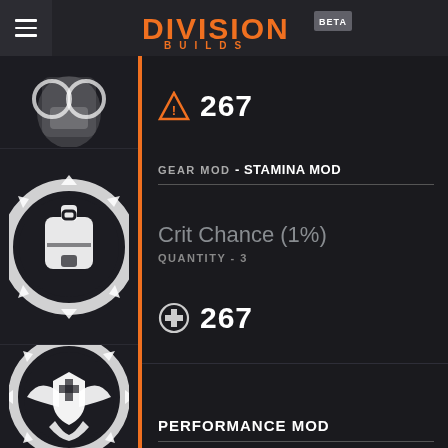DIVISION BUILDS BETA
[Figure (illustration): Gear mod backpack icon with gear/cog border, dark background]
267
GEAR MOD - STAMINA MOD
Crit Chance (1%)
QUANTITY - 3
267
[Figure (illustration): Performance mod icon - winged shield with gear border]
PERFORMANCE MOD
Support Station Healing Rate
QUANTITY - 2
PERFORMANCE MOD